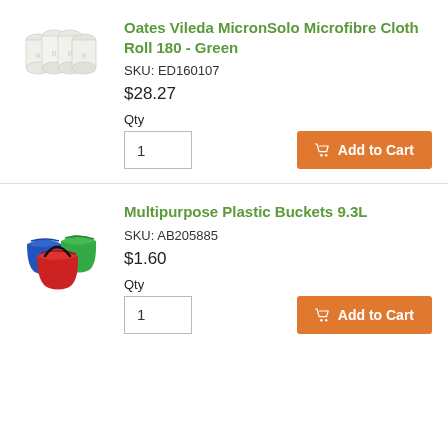[Figure (illustration): White toilet/cloth rolls stacked together]
Oates Vileda MicronSolo Microfibre Cloth Roll 180 - Green
SKU: ED160107
$28.27
Qty
1
Add to Cart
[Figure (illustration): Three plastic buckets in red, green, and blue colors]
Multipurpose Plastic Buckets 9.3L
SKU: AB205885
$1.60
Qty
1
Add to Cart